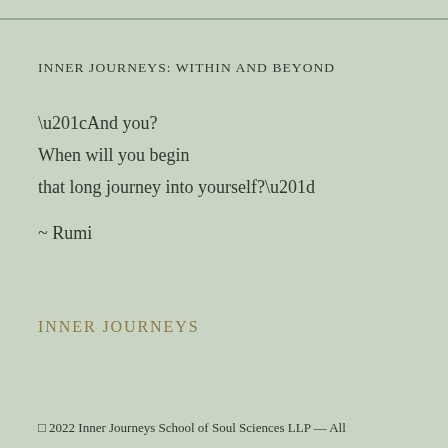INNER JOURNEYS: WITHIN AND BEYOND
“And you?
When will you begin
that long journey into yourself?”

~ Rumi
INNER JOURNEYS
© 2022 Inner Journeys School of Soul Sciences LLP — All